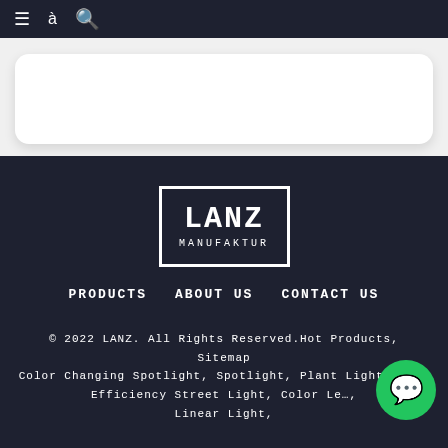≡ [icon] 🔍
[Figure (other): White rounded card/panel on light gray background]
[Figure (logo): LANZ MANUFAKTUR logo — black and white square box logo with bold monospace text]
PRODUCTS   ABOUT US   CONTACT US
© 2022 LANZ. All Rights Reserved.Hot Products, Sitemap Color Changing Spotlight, Spotlight, Plant Light, High Efficiency Street Light, Color Le…, Linear Light,